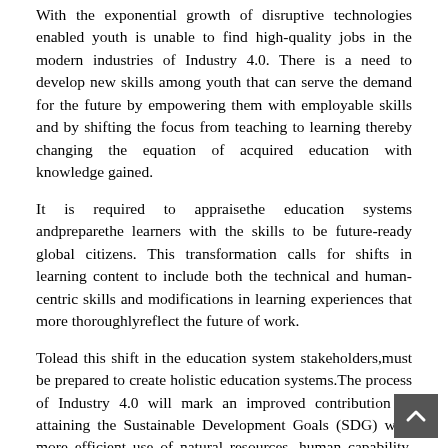With the exponential growth of disruptive technologies enabled youth is unable to find high-quality jobs in the modern industries of Industry 4.0. There is a need to develop new skills among youth that can serve the demand for the future by empowering them with employable skills and by shifting the focus from teaching to learning thereby changing the equation of acquired education with knowledge gained.
It is required to appraisethe education systems andpreparethe learners with the skills to be future-ready global citizens. This transformation calls for shifts in learning content to include both the technical and human-centric skills and modifications in learning experiences that more thoroughlyreflect the future of work.
Tolead this shift in the education system stakeholders,must be prepared to create holistic education systems.The process of Industry 4.0 will mark an improved contribution in attaining the Sustainable Development Goals (SDG) with more efficient use of natural resources, human capability, and advanced technology. TheNew Education Policy 2020 can be seen as a ray of hope to bridge the gap between what the traditional education offerings and what Industry 4.0 demands.The Education policy if implemented appropriately can help us reach new heights in the time to come.